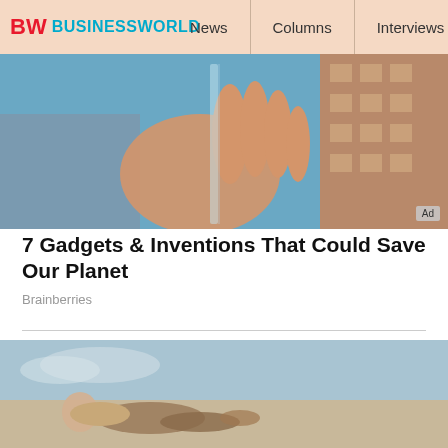BW BUSINESSWORLD | News | Columns | Interviews | BW
[Figure (photo): Hand holding a transparent glass/plastic sheet against a blue sky and brick building background, with 'Ad' badge in lower right corner]
7 Gadgets & Inventions That Could Save Our Planet
Brainberries
[Figure (photo): Person lying on a sidewalk outdoors, partial view. An ad overlay panel on the right side shows 'Ads by eRG' label at top, dark background, and a pause button at bottom.]